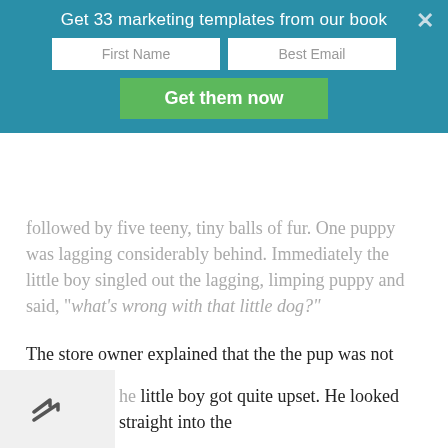Get 33 marketing templates from our book
followed by five teeny, tiny balls of fur. One puppy was lagging considerably behind. Immediately the little boy singled out the lagging, limping puppy and said, “what’s wrong with that little dog?”
The store owner explained that the the pup was not born with a hip socket. It would always be lame. “That is the little puppy that I want to buy.”
The store owner said, “No, you don’t want to buy that little dog. If you really want him, I’ll give him to you.”
The little boy got quite upset. He looked straight into the